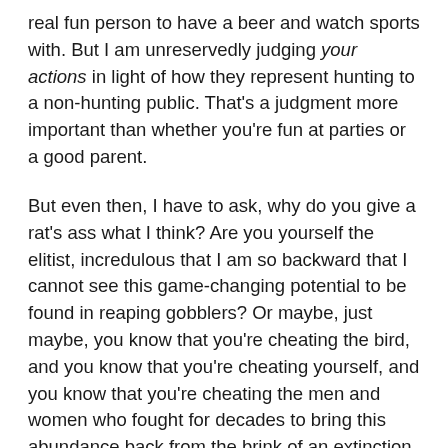real fun person to have a beer and watch sports with. But I am unreservedly judging your actions in light of how they represent hunting to a non-hunting public. That's a judgment more important than whether you're fun at parties or a good parent.
But even then, I have to ask, why do you give a rat's ass what I think? Are you yourself the elitist, incredulous that I am so backward that I cannot see this game-changing potential to be found in reaping gobblers? Or maybe, just maybe, you know that you're cheating the bird, and you know that you're cheating yourself, and you know that you're cheating the men and women who fought for decades to bring this abundance back from the brink of an extinction that was nearly caused by the same shit you're espousing to do now, and perhaps you're just projecting and justifying and clutching at straws?